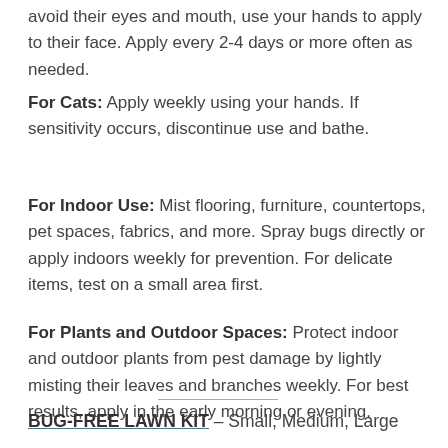avoid their eyes and mouth, use your hands to apply to their face. Apply every 2-4 days or more often as needed.
For Cats: Apply weekly using your hands. If sensitivity occurs, discontinue use and bathe.
For Indoor Use: Mist flooring, furniture, countertops, pet spaces, fabrics, and more. Spray bugs directly or apply indoors weekly for prevention. For delicate items, test on a small area first.
For Plants and Outdoor Spaces: Protect indoor and outdoor plants from pest damage by lightly misting their leaves and branches weekly. For best results, apply in the early morning or evening.
BUG-FREE LAWN KIT – Small, Medium, Large